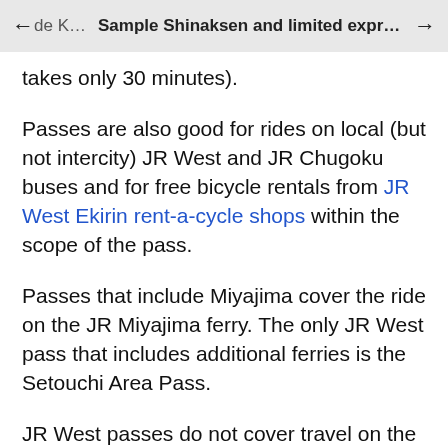← de K… Sample Shinaksen and limited express tra →
takes only 30 minutes).
Passes are also good for rides on local (but not intercity) JR West and JR Chugoku buses and for free bicycle rentals from JR West Ekirin rent-a-cycle shops within the scope of the pass.
Passes that include Miyajima cover the ride on the JR Miyajima ferry. The only JR West pass that includes additional ferries is the Setouchi Area Pass.
JR West passes do not cover travel on the privately operated Hanshin, Hankyū, and Keihin rail lines in the Kansai area.